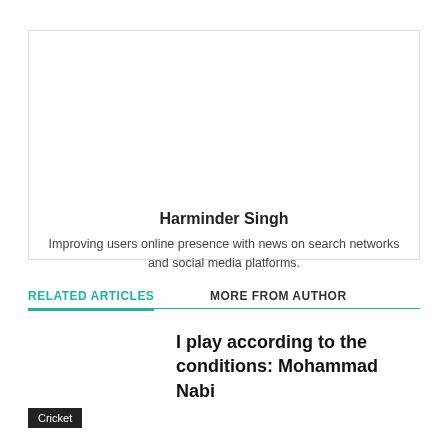[Figure (other): Author profile photo placeholder (empty white space inside bordered box)]
Harminder Singh
Improving users online presence with news on search networks and social media platforms.
RELATED ARTICLES
MORE FROM AUTHOR
I play according to the conditions: Mohammad Nabi
Cricket